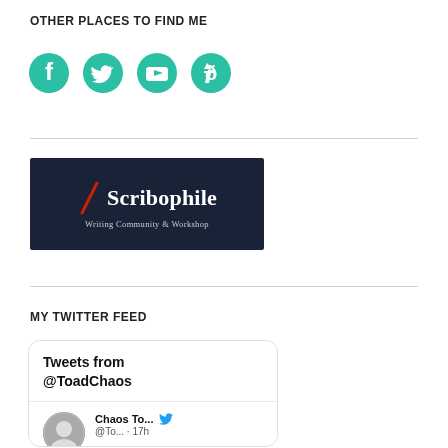OTHER PLACES TO FIND ME
[Figure (illustration): Four social media icons in teal/green color: Facebook, Twitter, YouTube, DeviantArt]
[Figure (logo): Scribophile Writing Community & Workshop banner with dark navy background, red quill pen, white serif text]
MY TWITTER FEED
[Figure (screenshot): Twitter feed widget showing 'Tweets from @ToadChaos' header, and a tweet item with avatar of Chaos To... @To... · 17h with Twitter bird icon]